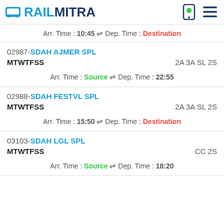RAILMITRA
Arr. Time : 10:45 ⇌ Dep. Time : Destination
02987-SDAH AJMER SPL MTWTFSS 2A 3A SL 2S Arr. Time : Source ⇌ Dep. Time : 22:55
02988-SDAH FESTVL SPL MTWTFSS 2A 3A SL 2S Arr. Time : 15:50 ⇌ Dep. Time : Destination
03103-SDAH LGL SPL MTWTFSS CC 2S Arr. Time : Source ⇌ Dep. Time : 18:20